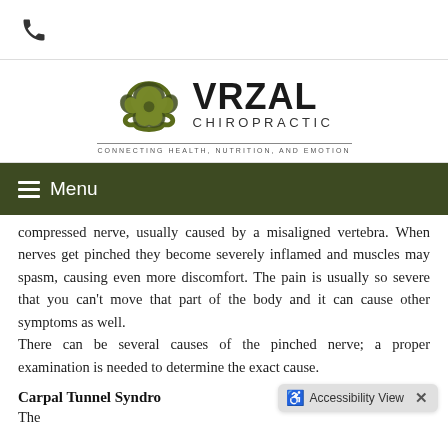Phone icon header bar
[Figure (logo): Vrzal Chiropractic logo with triquetra symbol and tagline: CONNECTING HEALTH, NUTRITION, AND EMOTION]
Menu
compressed nerve, usually caused by a misaligned vertebra. When nerves get pinched they become severely inflamed and muscles may spasm, causing even more discomfort. The pain is usually so severe that you can't move that part of the body and it can cause other symptoms as well. There can be several causes of the pinched nerve; a proper examination is needed to determine the exact cause.
Carpal Tunnel Syndro...
The...